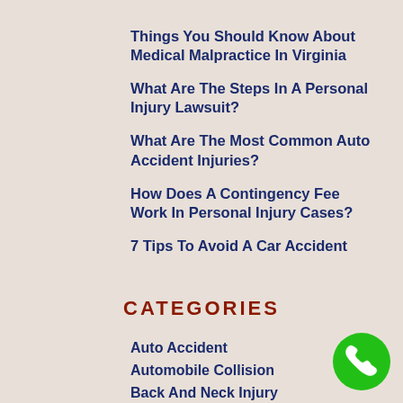Things You Should Know About Medical Malpractice In Virginia
What Are The Steps In A Personal Injury Lawsuit?
What Are The Most Common Auto Accident Injuries?
How Does A Contingency Fee Work In Personal Injury Cases?
7 Tips To Avoid A Car Accident
CATEGORIES
Auto Accident
Automobile Collision
Back And Neck Injury
Bicycle Accident
[Figure (illustration): Green circular phone call button with white telephone handset icon]